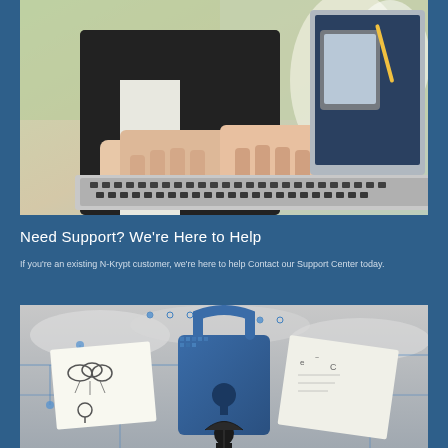[Figure (photo): Person typing on a laptop with another person holding a tablet in the background, in a bright office setting with plants]
Need Support? We're Here to Help
If you're an existing N-Krypt customer, we're here to help Contact our Support Center today.
[Figure (photo): Digital security concept image showing a large padlock made of circuit board patterns with sticky notes featuring cloud and technology sketches, a person with an umbrella silhouetted below]